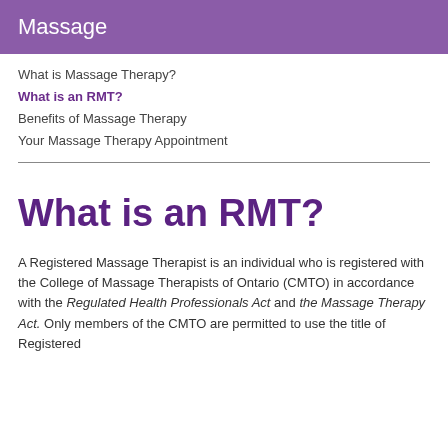Massage
What is Massage Therapy?
What is an RMT?
Benefits of Massage Therapy
Your Massage Therapy Appointment
What is an RMT?
A Registered Massage Therapist is an individual who is registered with the College of Massage Therapists of Ontario (CMTO) in accordance with the Regulated Health Professionals Act and the Massage Therapy Act. Only members of the CMTO are permitted to use the title of Registered